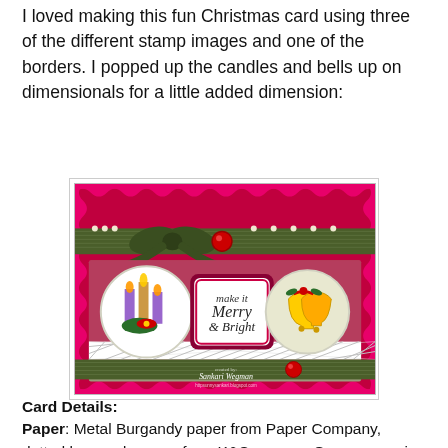I loved making this fun Christmas card using three of the different stamp images and one of the borders. I popped up the candles and bells up on dimensionals for a little added dimension:
[Figure (photo): A handmade Christmas card with red/magenta scalloped border, green ribbon with bow and red gem, three stamped images (candles with poinsettia, 'Make it Merry & Bright' sentiment, and bells), white lace trim, pearl accents, and signature 'created by: Sankari Wegman httpsunnysankari.blogspot.com']
Card Details:
Paper: Metal Burgandy paper from Paper Company, dotted burgundy paper from K&Company; Green paper is from